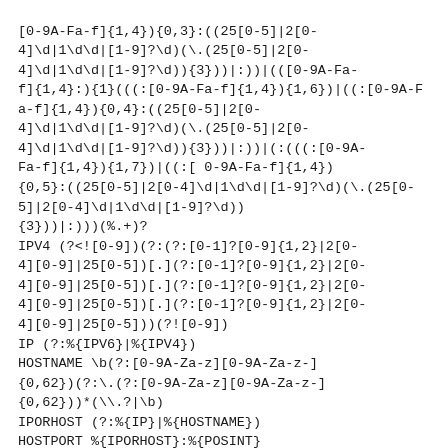[0-9A-Fa-f]{1,4}){0,3}:((25[0-5]|2[0-4]\d|1\d\d|[1-9]?\d)(\.( 25[0-5]|2[0-4]\d|1\d\d|[1-9]?\d)){3}))|:))|(([0-9A-Fa-f]{1,4}:){1}(((:[0-9A-Fa-f]{1,4}){1,6})|((:[0-9A-Fa-f]{1,4}){0,4}:((25[0-5]|2[0-4]\d|1\d\d|[1-9]?\d)(\.( 25[0-5]|2[0-4]\d|1\d\d|[1-9]?\d)){3}))|:))|(:(((:[0-9A-Fa-f]{1,4}){1,7})|((:[ 0-9A-Fa-f]{1,4}){0,5}:((25[0-5]|2[0-4]\d|1\d\d|[1-9]?\d)(\.(25[0-5]|2[0-4]\d|1\d\d|[1-9]?\d)){3}))|:)))(%.+)?
IPV4 (?<![0-9])(?:(?:[0-1]?[0-9]{1,2}|2[0-4][0-9]|25[0-5])[.](?:[0-1]?[0-9]{1,2}|2[0-4][0-9]|25[0-5])[.](?:[0-1]?[0-9]{1,2}|2[0-4][0-9]|25[0-5])[.](?:[0-1]?[0-9]{1,2}|2[0-4][0-9]|25[0-5]))(?![0-9])
IP (?:%{IPV6}|%{IPV4})
HOSTNAME \b(?:[0-9A-Za-z][0-9A-Za-z-]{0,62})(?:\.(?:[0-9A-Za-z][0-9A-Za-z-]{0,62}))*(\.?|\b)
IPORHOST (?:%{IP}|%{HOSTNAME})
HOSTPORT %{IPORHOST}:%{POSINT}